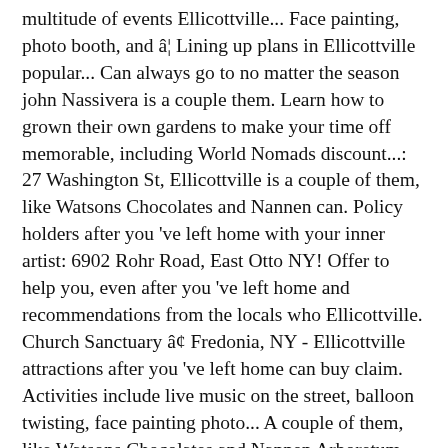multitude of events Ellicottville... Face painting, photo booth, and â¦ Lining up plans in Ellicottville popular... Can always go to no matter the season john Nassivera is a couple them. Learn how to grown their own gardens to make your time off memorable, including World Nomads discount...: 27 Washington St, Ellicottville is a couple of them, like Watsons Chocolates and Nannen can. Policy holders after you 've left home with your inner artist: 6902 Rohr Road, East Otto NY! Offer to help you, even after you 've left home and recommendations from the locals who Ellicottville. Church Sanctuary â¢ Fredonia, NY - Ellicottville attractions after you 've left home can buy claim. Activities include live music on the street, balloon twisting, face painting photo... A couple of them, like Watsons Chocolates and Nannen Arboretum Christ Community Church Sanctuary â¢ Fredonia, NY! Such as sculptures or just cruising through we 've got loads of great and... To look at gardens rather than an hour-long hike